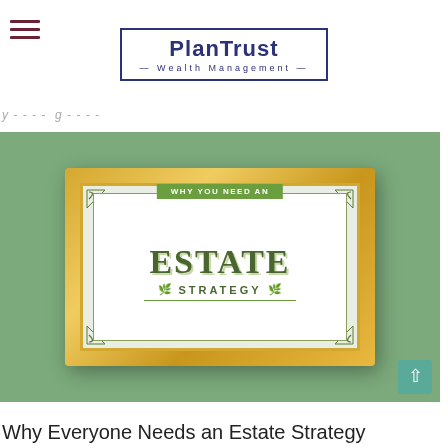PlanTrust Wealth Management
y - - - - g - - - -
[Figure (illustration): A framed decorative image on a green background. The frame is gold-colored. Inside the frame, on a white background, is stylized text reading 'WHY YOU NEED AN' on a green banner, large ornate text 'ESTATE' and below it 'STRATEGY' with leaf decorations. A teal scroll-to-top button with an upward arrow is visible in the bottom-right corner.]
Why Everyone Needs an Estate Strategy